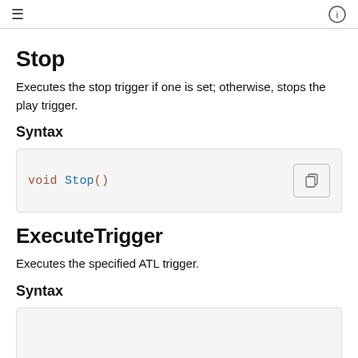≡  ⓘ
Stop
Executes the stop trigger if one is set; otherwise, stops the play trigger.
Syntax
[Figure (screenshot): Code block showing: void Stop()]
ExecuteTrigger
Executes the specified ATL trigger.
Syntax
[Figure (screenshot): Code block partially visible at bottom of page]